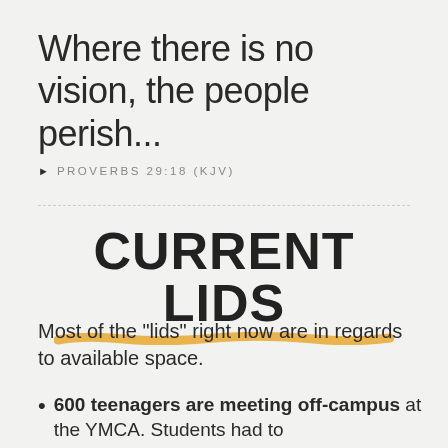Where there is no vision, the people perish...
▶ PROVERBS 29:18 (KJV)
CURRENT LIDS
Most of the "lids" right now are in regards to available space.
600 teenagers are meeting off-campus at the YMCA. Students had to